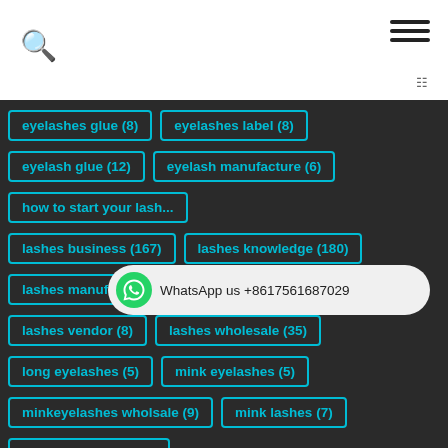Search | Menu
eyelashes glue (8)
eyelashes label (8)
eyelash glue (12)
eyelash manufacture (6)
how to start your lash...
lashes business (167)
lashes knowledge (180)
lashes manufacturer (161)
lashes trend (17)
lashes vendor (8)
lashes wholesale (35)
long eyelashes (5)
mink eyelashes (5)
minkeyelashes wholsale (9)
mink lashes (7)
mink lashes good (5)
mink lashes how are they made (4)
mink lashes how long do they last (5)
mink lashes how to apply (4)
[Figure (infographic): WhatsApp us +8617561687029 button with green WhatsApp icon]